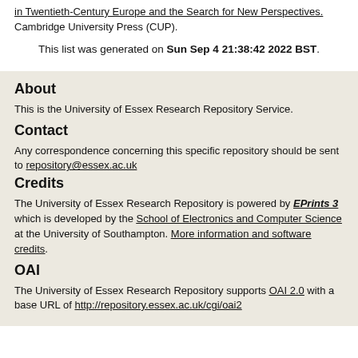in Twentieth-Century Europe and the Search for New Perspectives. Cambridge University Press (CUP).
This list was generated on Sun Sep 4 21:38:42 2022 BST.
About
This is the University of Essex Research Repository Service.
Contact
Any correspondence concerning this specific repository should be sent to repository@essex.ac.uk
Credits
The University of Essex Research Repository is powered by EPrints 3 which is developed by the School of Electronics and Computer Science at the University of Southampton. More information and software credits.
OAI
The University of Essex Research Repository supports OAI 2.0 with a base URL of http://repository.essex.ac.uk/cgi/oai2